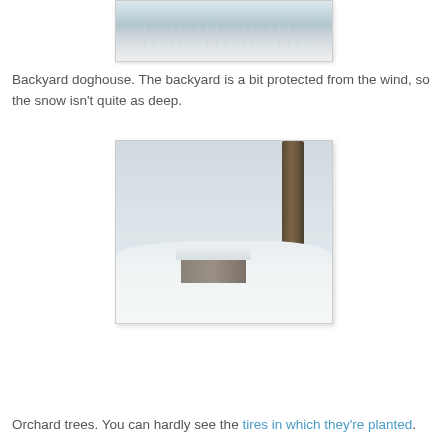[Figure (photo): Partial view of a snowy backyard doghouse scene, showing snow-covered structures and ground, top portion of image.]
Backyard doghouse. The backyard is a bit protected from the wind, so the snow isn't quite as deep.
[Figure (photo): Orchard trees covered in snow. A large tree trunk dominates the right side of the image, with a small snow-covered shed/structure visible in the middle-left. Deep snow blankets the ground.]
Orchard trees. You can hardly see the tires in which they're planted.